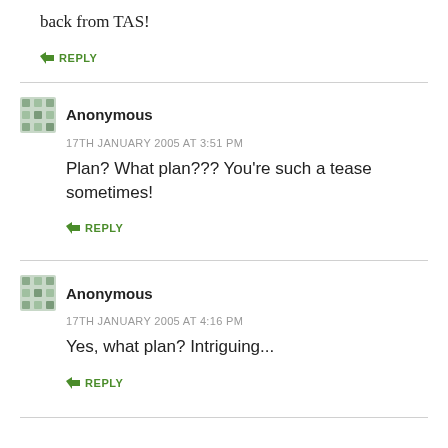back from TAS!
↳ REPLY
Anonymous
17TH JANUARY 2005 AT 3:51 PM
Plan? What plan??? You're such a tease sometimes!
↳ REPLY
Anonymous
17TH JANUARY 2005 AT 4:16 PM
Yes, what plan? Intriguing...
↳ REPLY